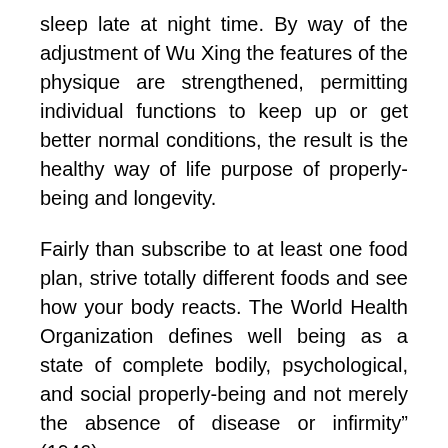sleep late at night time. By way of the adjustment of Wu Xing the features of the physique are strengthened, permitting individual functions to keep up or get better normal conditions, the result is the healthy way of life purpose of properly-being and longevity.
Fairly than subscribe to at least one food plan, strive totally different foods and see how your body reacts. The World Health Organization defines well being as a state of complete bodily, psychological, and social properly-being and not merely the absence of disease or infirmity" (1946).
Researchers from the Harvard T.H. Chan College of Public Health performed an enormous study of the